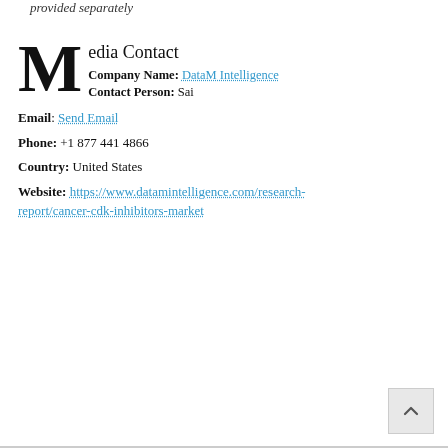provided separately
Media Contact
Company Name: DataM Intelligence
Contact Person: Sai
Email: Send Email
Phone: +1 877 441 4866
Country: United States
Website: https://www.datamintelligence.com/research-report/cancer-cdk-inhibitors-market